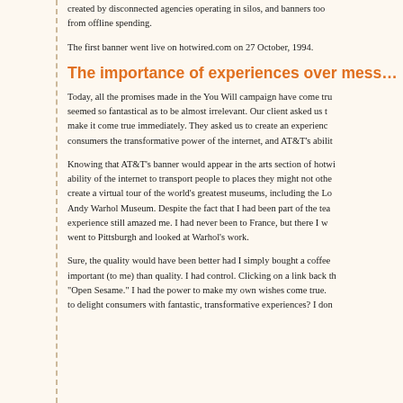created by disconnected agencies operating in silos, and banners too from offline spending.
The first banner went live on hotwired.com on 27 October, 1994.
The importance of experiences over mess…
Today, all the promises made in the You Will campaign have come tru… seemed so fantastical as to be almost irrelevant. Our client asked us … make it come true immediately. They asked us to create an experienc… consumers the transformative power of the internet, and AT&T's abilit…
Knowing that AT&T's banner would appear in the arts section of hotwi… ability of the internet to transport people to places they might not othe… create a virtual tour of the world's greatest museums, including the Lc… Andy Warhol Museum. Despite the fact that I had been part of the tea… experience still amazed me. I had never been to France, but there I w… went to Pittsburgh and looked at Warhol's work.
Sure, the quality would have been better had I simply bought a coffee… important (to me) than quality. I had control. Clicking on a link back th… "Open Sesame." I had the power to make my own wishes come true.… to delight consumers with fantastic, transformative experiences? I don…